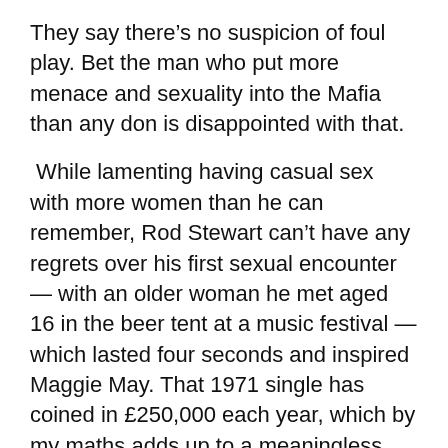They say there’s no suspicion of foul play. Bet the man who put more menace and sexuality into the Mafia than any don is disappointed with that.
While lamenting having casual sex with more women than he can remember, Rod Stewart can’t have any regrets over his first sexual encounter — with an older woman he met aged 16 in the beer tent at a music festival — which lasted four seconds and inspired Maggie May. That 1971 single has coined in £250,000 each year, which by my maths adds up to a meaningless four seconds making him nearly £13 million — and finally must lay to bed the lie in the lyrics: ‘Maggie, I wished I’d never seen your face.’